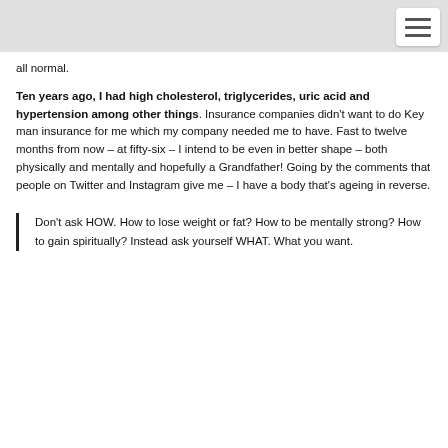all normal.

Ten years ago, I had high cholesterol, triglycerides, uric acid and hypertension among other things. Insurance companies didn't want to do Key man insurance for me which my company needed me to have. Fast to twelve months from now – at fifty-six – I intend to be even in better shape – both physically and mentally and hopefully a Grandfather! Going by the comments that people on Twitter and Instagram give me – I have a body that's ageing in reverse.
Don't ask HOW. How to lose weight or fat? How to be mentally strong? How to gain spiritually? Instead ask yourself WHAT. What you want.